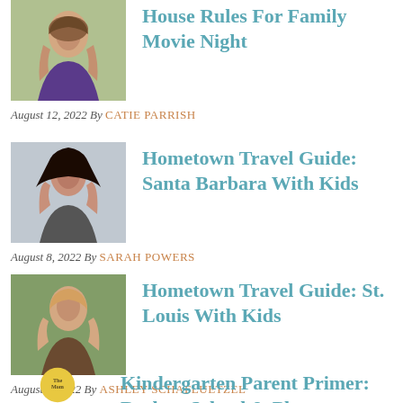[Figure (photo): Portrait photo of a woman with long hair outdoors]
House Rules For Family Movie Night
August 12, 2022 By CATIE PARRISH
[Figure (photo): Portrait photo of a woman with dark hair smiling]
Hometown Travel Guide: Santa Barbara With Kids
August 8, 2022 By SARAH POWERS
[Figure (photo): Portrait photo of a blonde woman outdoors]
Hometown Travel Guide: St. Louis With Kids
August 1, 2022 By ASHLEY SCHAFLUETZEL
[Figure (logo): The Mom circular logo in gold/yellow]
Kindergarten Parent Primer: Back to School & Play...